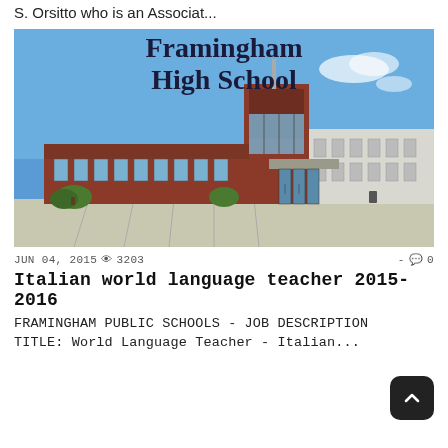S. Orsitto who is an Associat...
[Figure (photo): Framingham High School building exterior photo with 'Framingham High School' text overlay on blue sky background. Modern brick building with glass entrance.]
JUN 04, 2015 👁 3203  -  💬 0
Italian world language teacher 2015-2016
FRAMINGHAM PUBLIC SCHOOLS - JOB DESCRIPTION
TITLE: World Language Teacher - Italian...